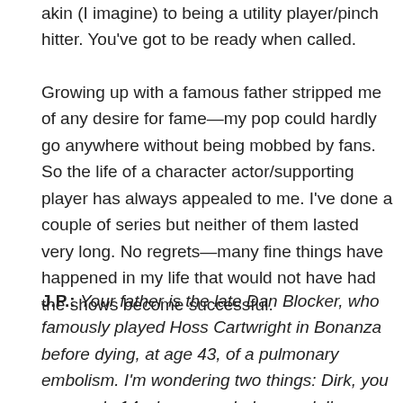akin (I imagine) to being a utility player/pinch hitter. You've got to be ready when called.
Growing up with a famous father stripped me of any desire for fame—my pop could hardly go anywhere without being mobbed by fans. So the life of a character actor/supporting player has always appealed to me. I've done a couple of series but neither of them lasted very long. No regrets—many fine things have happened in my life that would not have had the shows become successful.
J.P.: Your father is the late Dan Blocker, who famously played Hoss Cartwright in Bonanza before dying, at age 43, of a pulmonary embolism. I'm wondering two things: Dirk, you were only 14 when your dad passed. I'm wondering what you